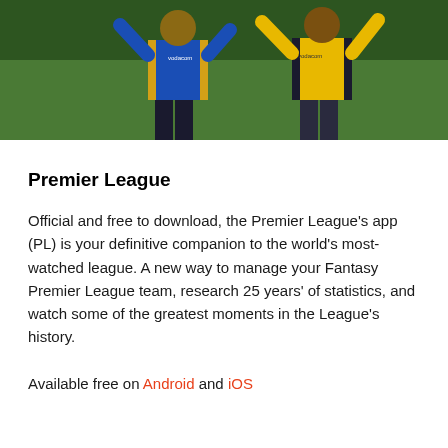[Figure (photo): Two soccer/football players wearing Vodacom-sponsored jerseys — one in blue and one in yellow — standing on a green field, arms raised]
Premier League
Official and free to download, the Premier League’s app (PL) is your definitive companion to the world’s most-watched league. A new way to manage your Fantasy Premier League team, research 25 years’ of statistics, and watch some of the greatest moments in the League’s history.
Available free on Android and iOS